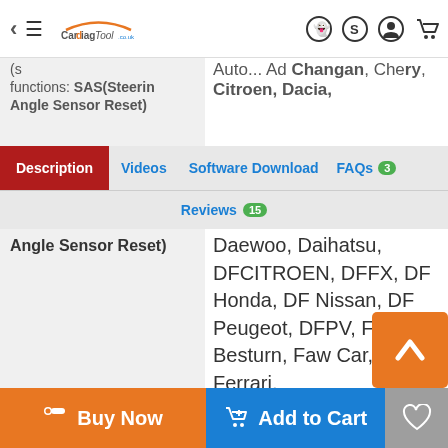CarDiagTool.co.uk navigation header with logo, menu, back arrow, and icons
Description | Videos | Software Download | FAQs 3 | Reviews 15
functions: SAS(Steering Angle Sensor Reset)
Daewoo, Daihatsu, DFCITROEN, DFFX, DF Honda, DF Nissan, DF Peugeot, DFPV, Faw Besturn, Faw Car, Ferrari, Fiat, Ford, Geely, GM, GQ Honda, GQ Toyota, Great wall, Haima, HC BMW, Honda, Hyundai, Infiniti, JAC, Jaguar, Karry, KIA, Lancia, Landrover, Lexus, Maserati, Maybach, Mazda, Mercedes-Benz, Mini,
Buy Now | Add to Cart | Wishlist